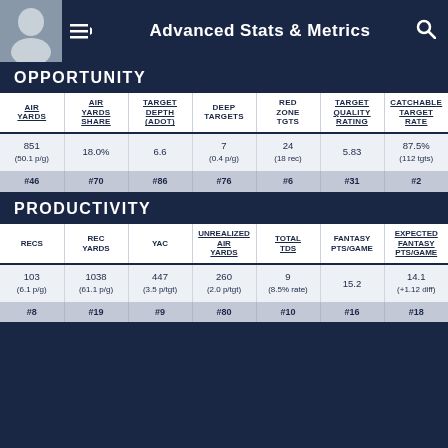Advanced Stats & Metrics
OPPORTUNITY
| AIR YARDS | AIR YARDS SHARE | TARGET DEPTH (ADOT) | DEEP TARGETS | RED ZONE TGTS | TARGET QUALITY RATING | CATCHABLE TARGET RATE |
| --- | --- | --- | --- | --- | --- | --- |
| 851 (50.1 p/g) | 18.0% | 6.6 | 7 (0.4 p/g) | 24 (18 rec) | 5.83 | 87.5% (112 tgts) |
| #46 | #70 | #86 | #76 | #6 | #31 | #2 |
PRODUCTIVITY
| RECS | REC YARDS | YAC | UNREALIZED AIR YARDS | TOTAL TDS | FANTASY PTS/GAME | EXPECTED FANTASY PTS/GAME |
| --- | --- | --- | --- | --- | --- | --- |
| 103 (6.1 p/g) | 1038 (61.1 p/g) | 447 (3.5 p/tgt) | 260 (2.0 p/tgt) | 9 (8.5% rate) | 15.2 | 14.1 (+1.12 diff) |
| #8 | #19 | #9 | #80 | #10 | #16 | #18 |